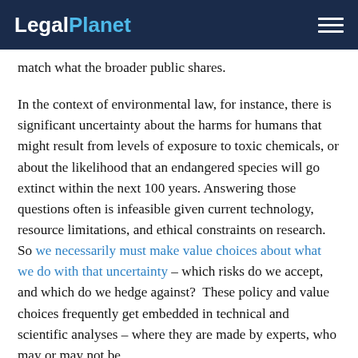LegalPlanet
match what the broader public shares.
In the context of environmental law, for instance, there is significant uncertainty about the harms for humans that might result from levels of exposure to toxic chemicals, or about the likelihood that an endangered species will go extinct within the next 100 years. Answering those questions often is infeasible given current technology, resource limitations, and ethical constraints on research.  So we necessarily must make value choices about what we do with that uncertainty – which risks do we accept, and which do we hedge against?  These policy and value choices frequently get embedded in technical and scientific analyses – where they are made by experts, who may or may not be